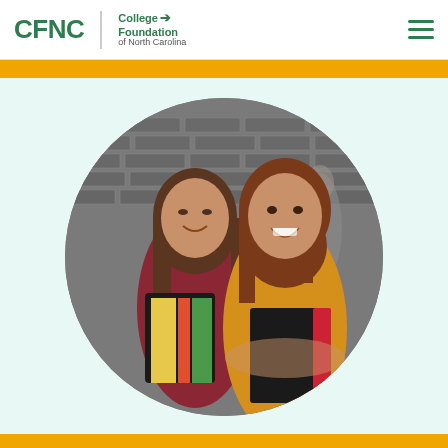CFNC | College Foundation of North Carolina
[Figure (photo): Two female students chatting and smiling in a hallway, both holding notebooks and folders. One wears a red top, the other a yellow/mustard sweater. Photo is cropped in a circular frame on a light teal background.]